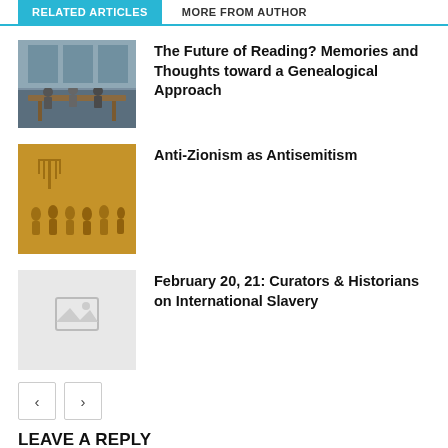RELATED ARTICLES  |  MORE FROM AUTHOR
[Figure (photo): People sitting at a table in what appears to be a library or classroom setting]
The Future of Reading? Memories and Thoughts toward a Genealogical Approach
[Figure (photo): Ancient stone relief carving showing a menorah and figures, likely the Arch of Titus]
Anti-Zionism as Antisemitism
[Figure (photo): Placeholder image thumbnail]
February 20, 21: Curators & Historians on International Slavery
LEAVE A REPLY